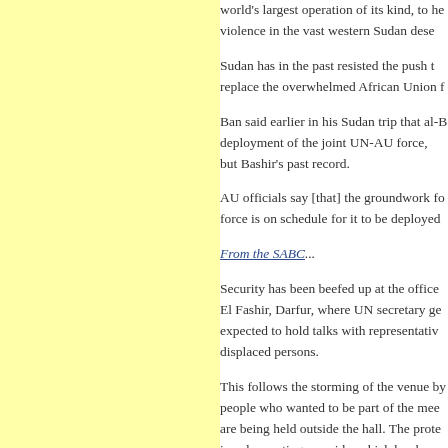world's largest operation of its kind, to he violence in the vast western Sudan dese
Sudan has in the past resisted the push t replace the overwhelmed African Union f
Ban said earlier in his Sudan trip that al-B deployment of the joint UN-AU force, but Bashir's past record.
AU officials say [that] the groundwork fo force is on schedule for it to be deployed
From the SABC...
Security has been beefed up at the office El Fashir, Darfur, where UN secretary ge expected to hold talks with representativ displaced persons.
This follows the storming of the venue by people who wanted to be part of the mee are being held outside the hall. The prote is only meeting one side, which has beer government.